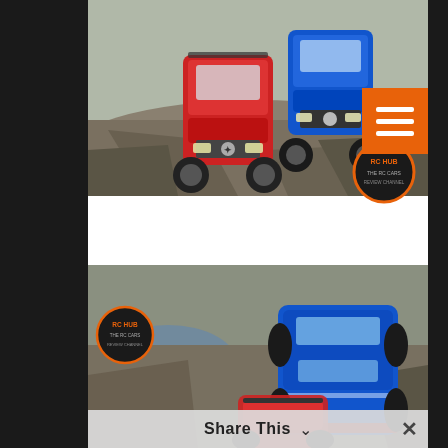[Figure (photo): Two RC Mercedes-Benz G-Class 6x6 trucks (red and blue) climbing over rocky terrain outdoors. RC HUB logo visible in lower right. Orange hamburger menu button in upper right corner.]
[Figure (photo): RC Mercedes-Benz G-Class trucks on rocky terrain. Blue truck prominent in center-right, red truck visible in lower left. RC HUB watermark logo in upper left area.]
Share This ∨ ×